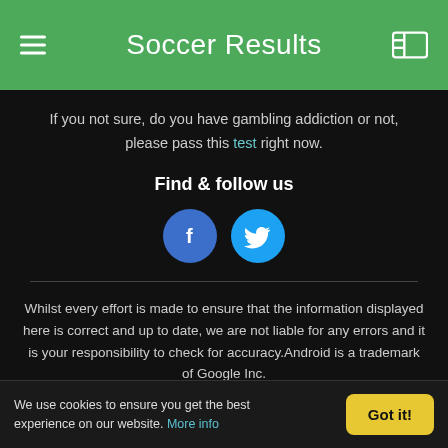Soccer Results
If you not sure, do you have gambling addiction or not, please pass this test right now.
Find & follow us
[Figure (illustration): Facebook and Twitter social media circular icon buttons]
Whilst every effort is made to ensure that the information displayed here is correct and up to date, we are not liable for any errors and it is your responsibility to check for accuracy.Android is a trademark of Google Inc.
© 2011-2022 Rezilta.com is in Version 6(MARS2018)
We use cookies to ensure you get the best experience on our website. More info | Got it!